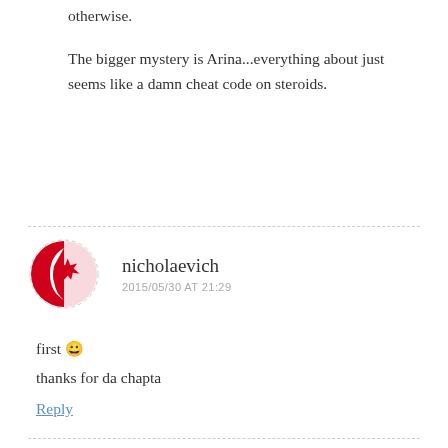otherwise.
The bigger mystery is Arina...everything about just seems like a damn cheat code on steroids.
nicholaevich
2015/05/30 AT 21:29
first 😀
thanks for da chapta
Reply